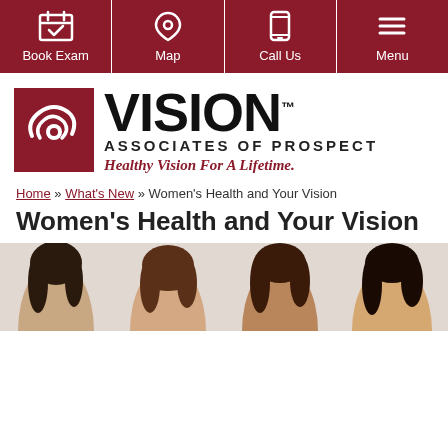Book Exam | Map | Call Us | Menu
[Figure (logo): Vision Associates of Prospect logo with red square containing eye swirl icon, large VISION text, ASSOCIATES OF PROSPECT subtitle, and tagline Healthy Vision For A Lifetime.]
Home » What's New » Women's Health and Your Vision
Women's Health and Your Vision
[Figure (photo): Four women of diverse backgrounds shown from shoulders up against a light background.]